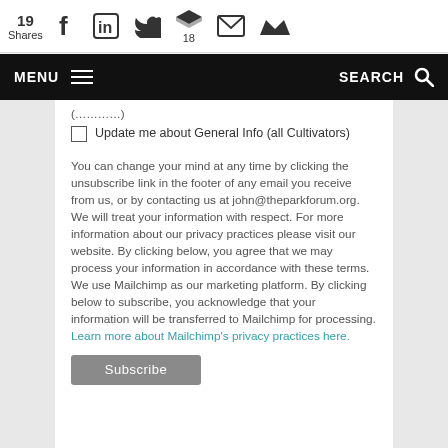19 Shares | social share icons (Facebook, LinkedIn, Twitter, Buffer x18, Email, Crown)
MENU | SEARCH
Update me about General Info (all Cultivators)
You can change your mind at any time by clicking the unsubscribe link in the footer of any email you receive from us, or by contacting us at john@theparkforum.org. We will treat your information with respect. For more information about our privacy practices please visit our website. By clicking below, you agree that we may process your information in accordance with these terms.
We use Mailchimp as our marketing platform. By clicking below to subscribe, you acknowledge that your information will be transferred to Mailchimp for processing. Learn more about Mailchimp's privacy practices here.